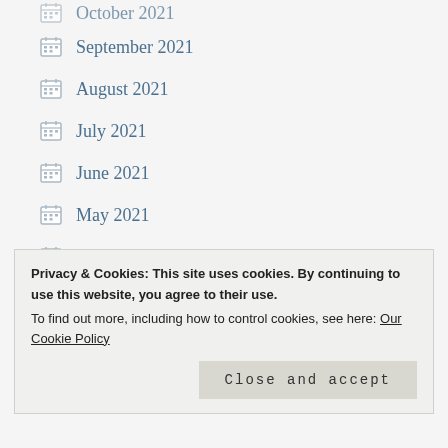October 2021
September 2021
August 2021
July 2021
June 2021
May 2021
April 2021
March 2021
February 2021
January 2021
Privacy & Cookies: This site uses cookies. By continuing to use this website, you agree to their use.
To find out more, including how to control cookies, see here: Our Cookie Policy
Close and accept
August 2020